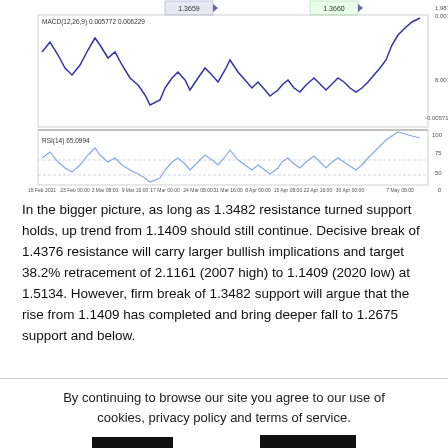[Figure (continuous-plot): Two-panel financial chart. Top panel: MACD(12,26,9) 0.005772 0.006229 line chart in dark blue showing oscillating pattern from 15 Feb 2021 to 7 May 08:00, with y-axis labels 1.9875, 0.007207, 8.00, -0.005714. Bottom panel: RSI(14) 65.0994 line chart in light blue with y-axis labels 100, 75, 50, 0. X-axis shows dates: 15 Feb 2021, 23 Feb 00:00, 2 Mar 08:00, 9 Mar 16:00, 17 Mar 00:00, 24 Mar 08:00, 31 Mar 16:00, 8 Apr 00:00, 15 Apr 08:00, 22 Apr 16:00, 30 Apr 00:00, 7 May 08:00. Price labels 1.3659 and 1.3660 shown at top.]
In the bigger picture, as long as 1.3482 resistance turned support holds, up trend from 1.1409 should still continue. Decisive break of 1.4376 resistance will carry larger bullish implications and target 38.2% retracement of 2.1161 (2007 high) to 1.1409 (2020 low) at 1.5134. However, firm break of 1.3482 support will argue that the rise from 1.1409 has completed and bring deeper fall to 1.2675 support and below.
By continuing to browse our site you agree to our use of cookies, privacy policy and terms of service.